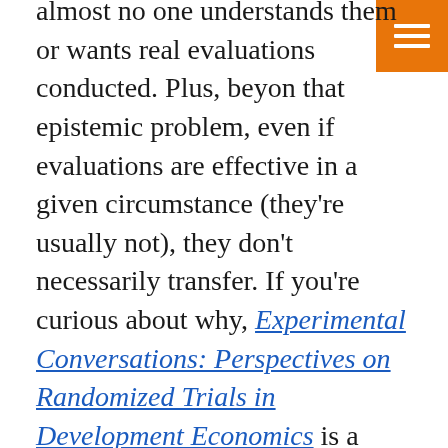almost no one understands them or wants real evaluations conducted. Plus, beyond that epistemic problem, even if evaluations are effective in a given circumstance (they're usually not), they don't necessarily transfer. If you're curious about why, Experimental Conversations: Perspectives on Randomized Trials in Development Economics is a good place to start—and this is the book least likely to be read, out of all the books I've ever recommended here. Normal people like reading 50 Shades of Grey and The Name of the Rose, not Experimental Conversations.